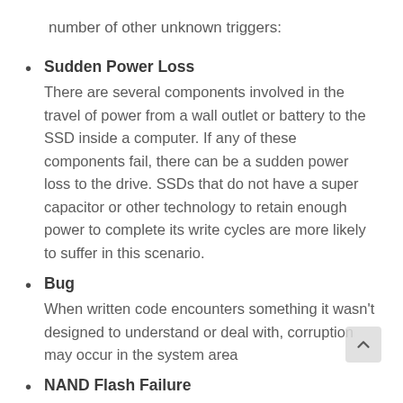number of other unknown triggers:
Sudden Power Loss
There are several components involved in the travel of power from a wall outlet or battery to the SSD inside a computer. If any of these components fail, there can be a sudden power loss to the drive. SSDs that do not have a super capacitor or other technology to retain enough power to complete its write cycles are more likely to suffer in this scenario.
Bug
When written code encounters something it wasn't designed to understand or deal with, corruption may occur in the system area
NAND Flash Failure
There are three...